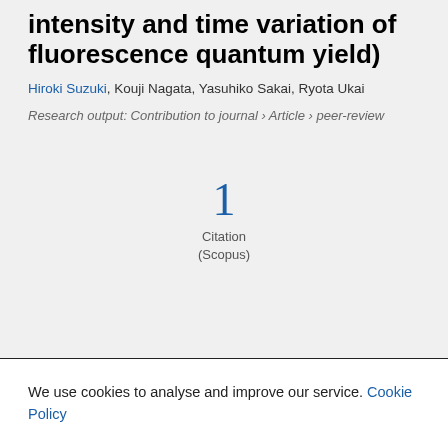intensity and time variation of fluorescence quantum yield)
Hiroki Suzuki, Kouji Nagata, Yasuhiko Sakai, Ryota Ukai
Research output: Contribution to journal › Article › peer-review
1 Citation (Scopus)
We use cookies to analyse and improve our service. Cookie Policy